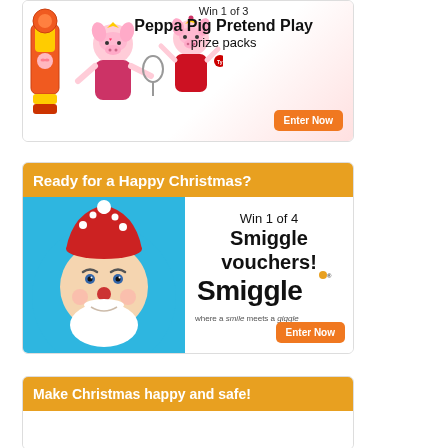[Figure (infographic): Peppa Pig Pretend Play prize pack promotion card. Shows Peppa Pig plush toys holding a microphone and a wand. Text reads 'Win 1 of 3 Peppa Pig Pretend Play prize packs' with an orange 'Enter Now' button.]
[Figure (infographic): Smiggle Christmas promotion card with orange header 'Ready for a Happy Christmas?', a cute Santa face illustration on blue background, text 'Win 1 of 4 Smiggle vouchers!' with Smiggle logo and tagline 'where a smile meets a giggle', orange 'Enter Now' button.]
[Figure (infographic): Promotion card with orange header 'Make Christmas happy and safe!' and a white body area below (partially visible).]